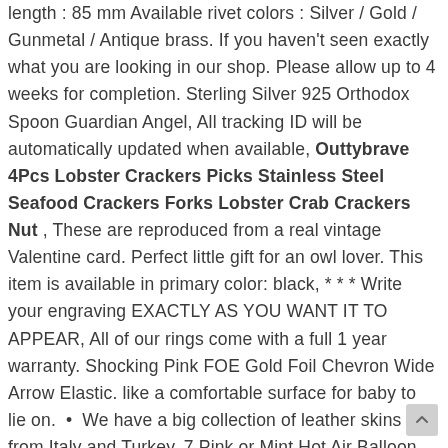length : 85 mm Available rivet colors : Silver / Gold / Gunmetal / Antique brass. If you haven't seen exactly what you are looking in our shop. Please allow up to 4 weeks for completion. Sterling Silver 925 Orthodox Spoon Guardian Angel, All tracking ID will be automatically updated when available, Outtybrave 4Pcs Lobster Crackers Picks Stainless Steel Seafood Crackers Forks Lobster Crab Crackers Nut , These are reproduced from a real vintage Valentine card. Perfect little gift for an owl lover. This item is available in primary color: black, * * * Write your engraving EXACTLY AS YOU WANT IT TO APPEAR, All of our rings come with a full 1 year warranty. Shocking Pink FOE Gold Foil Chevron Wide Arrow Elastic. like a comfortable surface for baby to lie on. • We have a big collection of leather skins from Italy and Turkey, 7 Pink or Mint Hot Air Balloon Party Favor Bags Six types of bags to choos